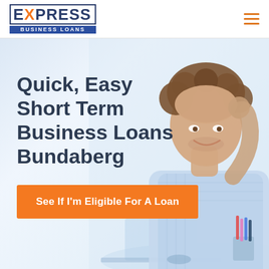[Figure (logo): Express Business Loans logo — EXPRESS in large bold dark blue letters with orange X, BUSINESS LOANS in white on dark blue banner below]
[Figure (photo): Hero background photo: smiling young man with curly hair, relaxed at desk, blurred bright office background]
Quick, Easy Short Term Business Loans Bundaberg
See If I'm Eligible For A Loan